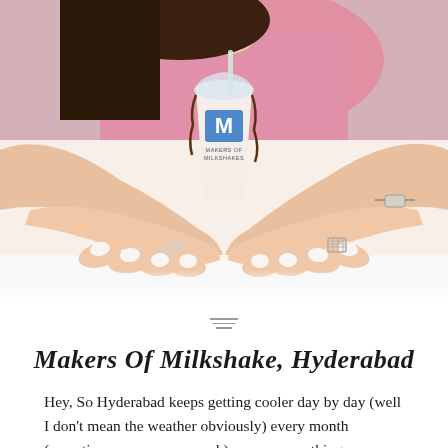[Figure (photo): A person in a pink shirt holding a milkshake cup branded 'Makers of Milkshakes' with both hands on a white surface. The person has white-painted nails and wears rings. The cup has a clear plastic lid with a straw and chocolate drizzle on the outside.]
Makers Of Milkshake, Hyderabad
Hey, So Hyderabad keeps getting cooler day by day (well I don't mean the weather obviously) every month (sometimes even every week) we see something new opening in town.